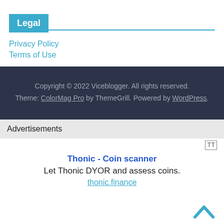Legal
Privacy Policy
Terms of Use
Copyright © 2022 Viceblogger. All rights reserved. Theme: ColorMag Pro by ThemeGrill. Powered by WordPress.
Advertisements
Thonic - Coin scanner
Let Thonic DYOR and assess coins.
thonic.finance